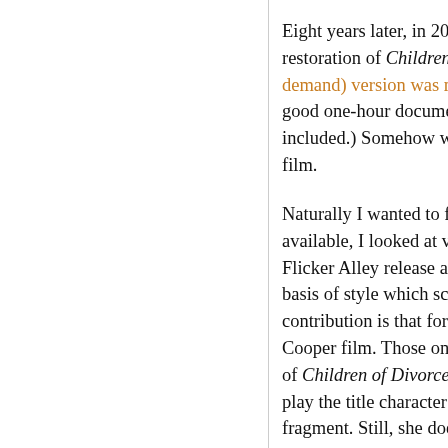Eight years later, in 2016, Flicker Alley released a restoration of Children of Divorce. That two-disc demand) version was made available. It is a single good one-hour documentary on Clara Bow produced included.) Somehow we missed the original release film.
Naturally I wanted to find out if any information available, I looked at various internet sources, including Flicker Alley release and books. I found nothing on the basis of style which scenes were his. I suppose contribution is that for many viewers and purchasers Cooper film. Those online reviews from 2016 focused on of Children of Divorce. The third star, Esther Ra... play the title character in The Case of Lena Smi... fragment. Still, she doesn't have the lingering r...
Spoilers ahead, including a revelation of the en...